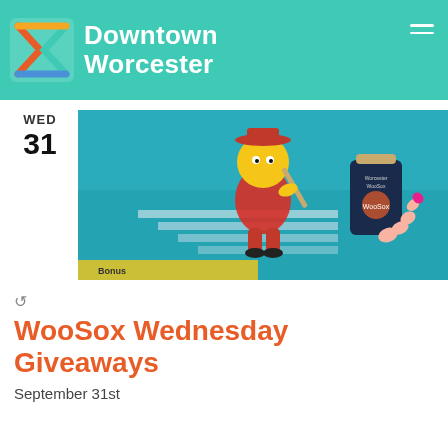Downtown Worcester
[Figure (photo): A hand holding a navy blue can koozie with WooSox branding in front of a teal wall mural featuring a cartoon baseball player mascot with yellow head and red outfit swinging a bat.]
WooSox Wednesday Giveaways
September 31st